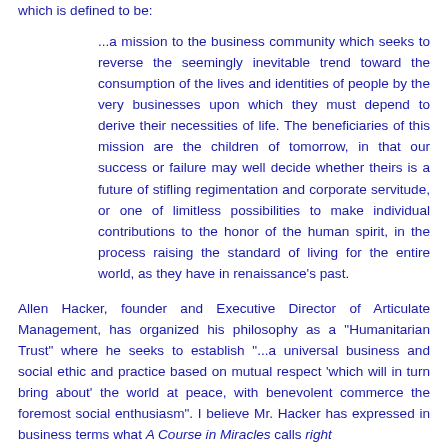which is defined to be:
...a mission to the business community which seeks to reverse the seemingly inevitable trend toward the consumption of the lives and identities of people by the very businesses upon which they must depend to derive their necessities of life. The beneficiaries of this mission are the children of tomorrow, in that our success or failure may well decide whether theirs is a future of stifling regimentation and corporate servitude, or one of limitless possibilities to make individual contributions to the honor of the human spirit, in the process raising the standard of living for the entire world, as they have in renaissance's past.
Allen Hacker, founder and Executive Director of Articulate Management, has organized his philosophy as a "Humanitarian Trust" where he seeks to establish "...a universal business and social ethic and practice based on mutual respect 'which will in turn bring about' the world at peace, with benevolent commerce the foremost social enthusiasm". I believe Mr. Hacker has expressed in business terms what A Course in Miracles calls right